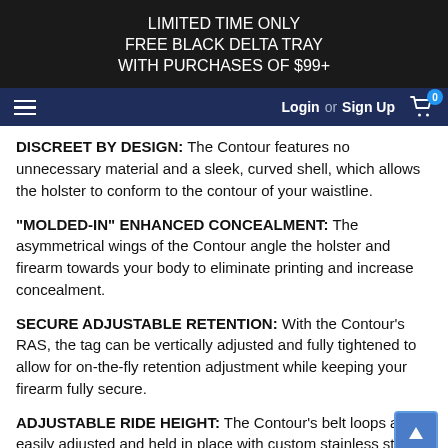LIMITED TIME ONLY FREE BLACK DELTA TRAY WITH PURCHASES OF $99+
Login or Sign Up
DISCREET BY DESIGN: The Contour features no unnecessary material and a sleek, curved shell, which allows the holster to conform to the contour of your waistline.
“MOLDED-IN” ENHANCED CONCEALMENT: The asymmetrical wings of the Contour angle the holster and firearm towards your body to eliminate printing and increase concealment.
SECURE ADJUSTABLE RETENTION: With the Contour’s RAS, the tag can be vertically adjusted and fully tightened to allow for on-the-fly retention adjustment while keeping your firearm fully secure.
ADJUSTABLE RIDE HEIGHT: The Contour’s belt loops are easily adjusted and held in place with custom stainless steel,